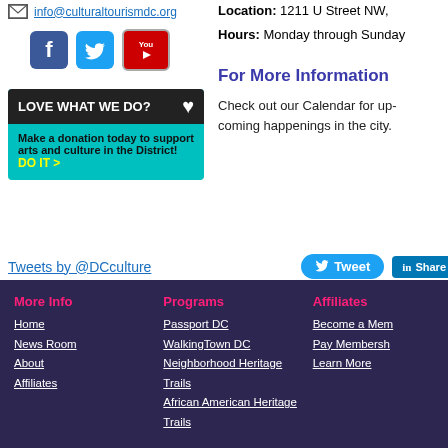info@culturaltourismdc.org
[Figure (screenshot): Social media icons: Facebook, Twitter, YouTube]
[Figure (infographic): Donation banner: LOVE WHAT WE DO? Make a donation today to support arts and culture in the District! DO IT >]
Location: 1211 U Street NW,
Hours: Monday through Sunday
For More Information
Check out our Calendar for up-to-date happenings in the city.
Tweets by @DCculture
More Info: Home, News Room, About, Affiliates | Programs: Passport DC, WalkingTown DC, Neighborhood Heritage Trails, African American Heritage Trails | Affiliates: Become a Member, Pay Membership, Learn More